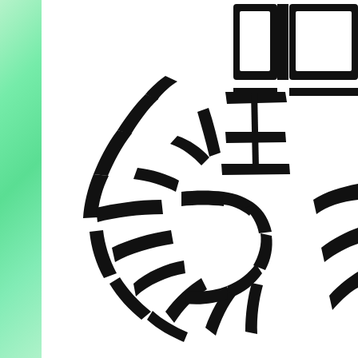[Figure (logo): Page with a green watercolor/textured vertical bar on the left side, and on the right side a large black decorative logo or emblem consisting of radiating spike/feather-like strokes forming a sunburst or firework pattern, with what appears to be partial bold serif letters or Chinese/Japanese characters in the upper right corner. The image is cropped so only part of the logo is visible.]